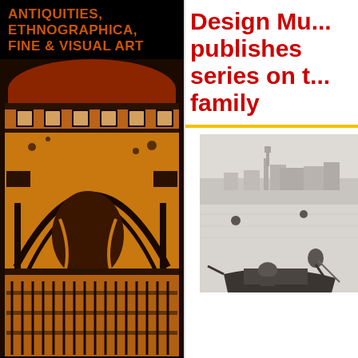ANTIQUITIES, ETHNOGRAPHICA, FINE & VISUAL ART
[Figure (photo): Close-up of an ancient decorated ceramic vessel with Mayan-style painted figures and geometric patterns in orange, brown, and black.]
Design Mu... publishes series on the family
[Figure (photo): Black and white historical photograph of people rowing a gondola or small boat on calm water, with a cityscape (Venice) visible in the background.]